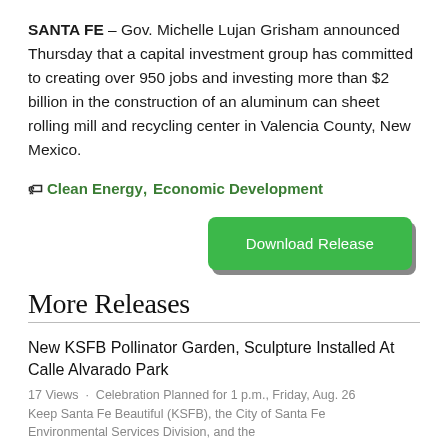SANTA FE – Gov. Michelle Lujan Grisham announced Thursday that a capital investment group has committed to creating over 950 jobs and investing more than $2 billion in the construction of an aluminum can sheet rolling mill and recycling center in Valencia County, New Mexico.
Clean Energy, Economic Development
[Figure (other): Green 'Download Release' button with drop shadow]
More Releases
New KSFB Pollinator Garden, Sculpture Installed At Calle Alvarado Park
17 Views · Celebration Planned for 1 p.m., Friday, Aug. 26 Keep Santa Fe Beautiful (KSFB), the City of Santa Fe Environmental Services Division, and the